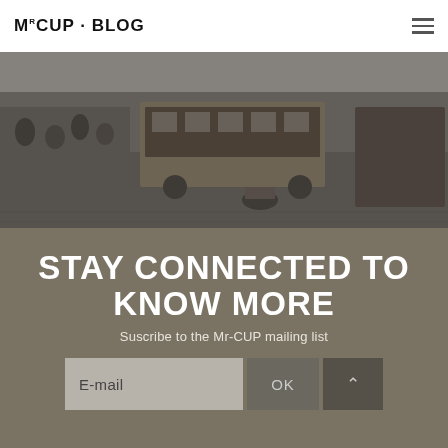MrCUP · BLOG
[Figure (photo): Black and white vintage aerial photograph of a busy street scene with horse-drawn carriages, early motor vehicles, a tram/omnibus, cyclists, and crowds of people on a cobblestone street]
STAY CONNECTED TO KNOW MORE
Suscribe to the Mr-CUP mailing list
E-mail
OK